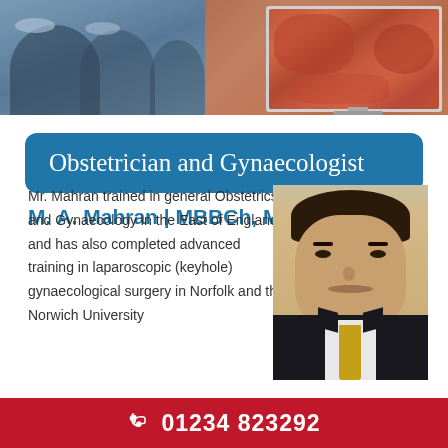[Figure (photo): Banner image showing surgical team on left and endoscopic medical display screen on right]
Obstetrician and Gynaecologist
M. A. Mahran | MBBCh, MSc, MRCOG
[Figure (photo): Professional headshot of Mr. Mahran in a dark suit with yellow tie]
Mr. Mahran trained in general Obstetrics and Gynaecology in the East of England and has also completed advanced training in laparoscopic (keyhole) gynaecological surgery in Norfolk and the Norwich University
01234 823292